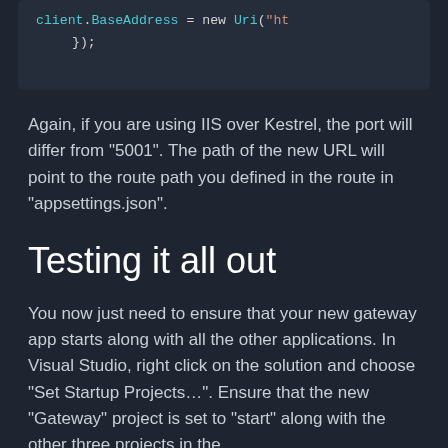[Figure (screenshot): Dark-themed code block showing: client.BaseAddress = new Uri("ht and });]
Again, if you are using IIS over Kestrel, the port will differ from “5001”. The path of the new URL will point to the route path you defined in the route in “appsettings.json”.
Testing it all out
You now just need to ensure that your new gateway app starts along with all the other applications. In Visual Studio, right click on the solution and choose “Set Startup Projects…”. Ensure that the new “Gateway” project is set to “start” along with the other three projects in the